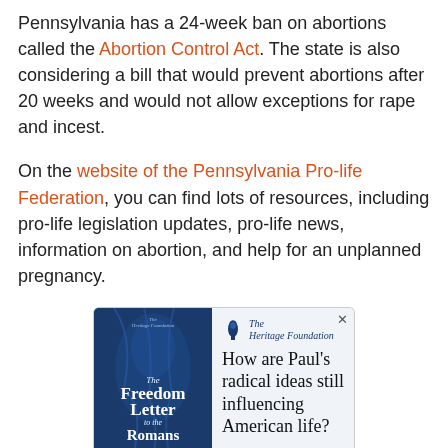Pennsylvania has a 24-week ban on abortions called the Abortion Control Act. The state is also considering a bill that would prevent abortions after 20 weeks and would not allow exceptions for rape and incest.
On the website of the Pennsylvania Pro-life Federation, you can find lots of resources, including pro-life legislation updates, pro-life news, information on abortion, and help for an unplanned pregnancy.
[Figure (infographic): Advertisement banner for The Heritage Foundation promoting 'The Freedom Letter to the Romans' book, with text 'How are Paul's radical ideas still influencing American life?' and a 'Get My FREE Copy' button.]